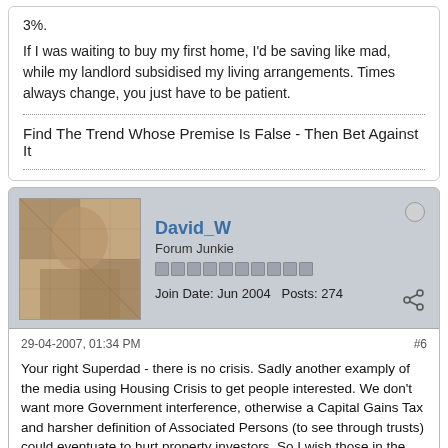3%.
If I was waiting to buy my first home, I'd be saving like mad, while my landlord subsidised my living arrangements. Times always change, you just have to be patient.
Find The Trend Whose Premise Is False - Then Bet Against It
David_W
Forum Junkie
Join Date: Jun 2004   Posts: 274
29-04-2007, 01:34 PM
#6
Your right Superdad - there is no crisis. Sadly another examply of the media using Housing Crisis to get people interested. We don't want more Government interference, otherwise a Capital Gains Tax and harsher definition of Associated Persons (to see through trusts) could eventuate to hurt property investors. So I wish those in the media stating there is a Housing crisis would instead focus on the "lack of savings in NZ" crisis, and the "I want it now, ease of getting into bad debt" crisis that cripple so many NZers.